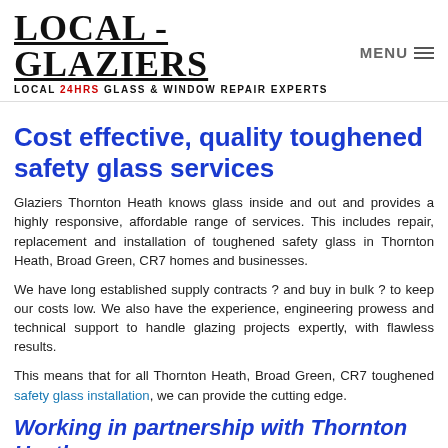LOCAL - GLAZIERS LOCAL 24HRS GLASS & WINDOW REPAIR EXPERTS | MENU
Cost effective, quality toughened safety glass services
Glaziers Thornton Heath knows glass inside and out and provides a highly responsive, affordable range of services. This includes repair, replacement and installation of toughened safety glass in Thornton Heath, Broad Green, CR7 homes and businesses.
We have long established supply contracts ? and buy in bulk ? to keep our costs low. We also have the experience, engineering prowess and technical support to handle glazing projects expertly, with flawless results.
This means that for all Thornton Heath, Broad Green, CR7 toughened safety glass installation, we can provide the cutting edge.
Working in partnership with Thornton Heath